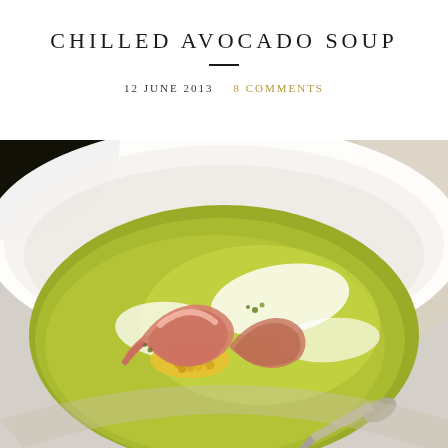CHILLED AVOCADO SOUP
12 JUNE 2013   8 COMMENTS
[Figure (photo): A white bowl filled with chilled avocado soup topped with shrimp, corn, cream swirls, and herbs, photographed from above at an angle.]